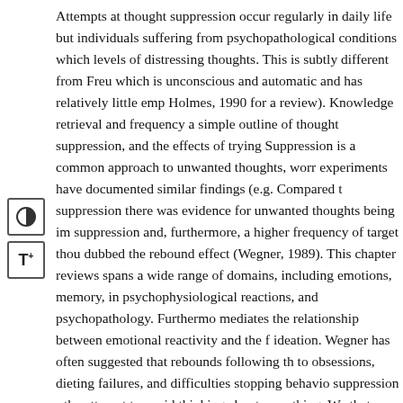Attempts at thought suppression occur regularly in daily life but individuals suffering from psychopathological conditions which levels of distressing thoughts. This is subtly different from Freu which is unconscious and automatic and has relatively little emp Holmes, 1990 for a review). Knowledge retrieval and frequency a simple outline of thought suppression, and the effects of trying Suppression is a common approach to unwanted thoughts, worr experiments have documented similar findings (e.g. Compared t suppression there was evidence for unwanted thoughts being im suppression and, furthermore, a higher frequency of target thou dubbed the rebound effect (Wegner, 1989). This chapter reviews spans a wide range of domains, including emotions, memory, in psychophysiological reactions, and psychopathology. Furthermo mediates the relationship between emotional reactivity and the f ideation. Wegner has often suggested that rebounds following th to obsessions, dieting failures, and difficulties stopping behavio suppression - the attempt to avoid thinking about something. We that an inclination toward thought suppression is associated with reactivity. There is evidence that techniques such as cognitive re